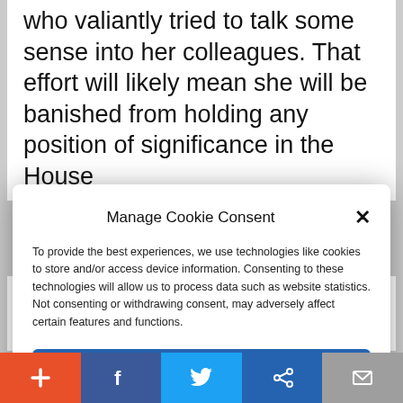who valiantly tried to talk some sense into her colleagues. That effort will likely mean she will be banished from holding any position of significance in the House
Manage Cookie Consent
To provide the best experiences, we use technologies like cookies to store and/or access device information. Consenting to these technologies will allow us to process data such as website statistics. Not consenting or withdrawing consent, may adversely affect certain features and functions.
Accept
Cookie Policy   Privacy Policy
rabble in line. To move things through
+ f 🐦 ∞ ✉